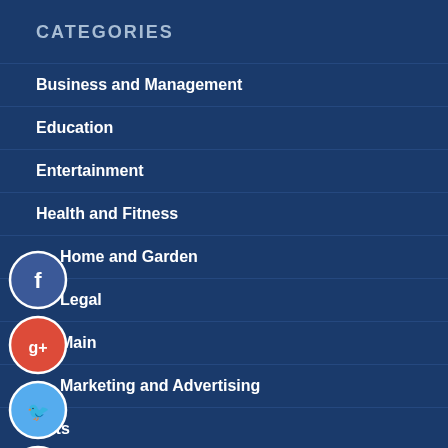CATEGORIES
Business and Management
Education
Entertainment
Health and Fitness
Home and Garden
Legal
Main
Marketing and Advertising
Pets
[Figure (infographic): Social media sharing icons: Facebook (dark blue circle with f), Google+ (red circle with g+), Twitter (light blue circle with bird), Plus (dark blue circle with +)]